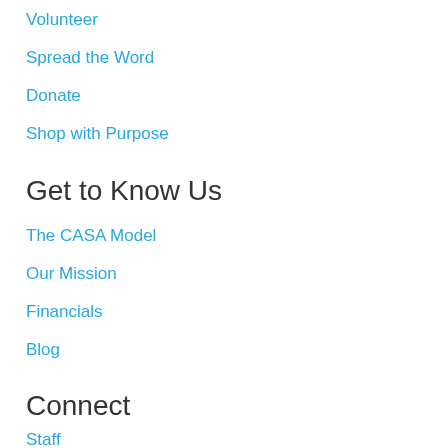Volunteer
Spread the Word
Donate
Shop with Purpose
Get to Know Us
The CASA Model
Our Mission
Financials
Blog
Connect
Staff